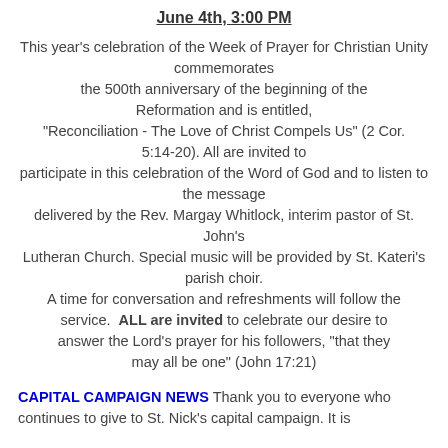June 4th, 3:00 PM
This year's celebration of the Week of Prayer for Christian Unity commemorates the 500th anniversary of the beginning of the Reformation and is entitled, "Reconciliation - The Love of Christ Compels Us" (2 Cor. 5:14-20). All are invited to participate in this celebration of the Word of God and to listen to the message delivered by the Rev. Margay Whitlock, interim pastor of St. John's Lutheran Church. Special music will be provided by St. Kateri's parish choir. A time for conversation and refreshments will follow the service. ALL are invited to celebrate our desire to answer the Lord's prayer for his followers, "that they may all be one" (John 17:21)
CAPITAL CAMPAIGN NEWS Thank you to everyone who continues to give to St. Nick's capital campaign. It is